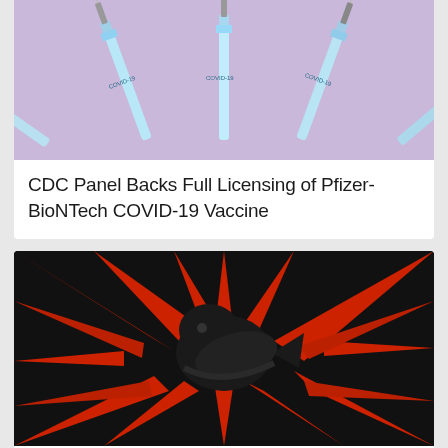[Figure (photo): Five syringes with blue/teal labels reading COVID-19 arranged in a fan pattern on a lavender/purple background]
CDC Panel Backs Full Licensing of Pfizer-BioNTech COVID-19 Vaccine
[Figure (illustration): Twitter bird logo silhouette in black on a red and black starburst/explosion graphic background]
Twitter's Former Security Chief